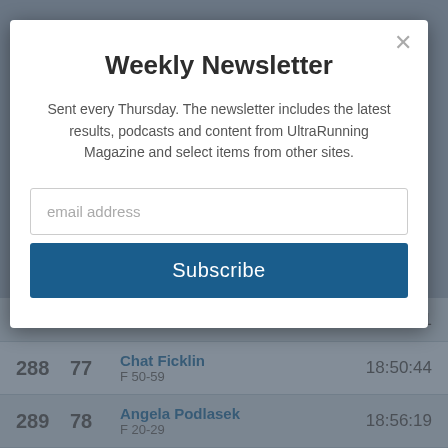Weekly Newsletter
Sent every Thursday. The newsletter includes the latest results, podcasts and content from UltraRunning Magazine and select items from other sites.
email address
Subscribe
| Place | Rank | Name / Category | Time |
| --- | --- | --- | --- |
| 286 | 76 | F 30-39 | 18:36:11 |
| 288 | 77 | Chat Ficklin
F 50-59 | 18:50:44 |
| 289 | 78 | Angela Podlasek
F 20-29 | 18:56:19 |